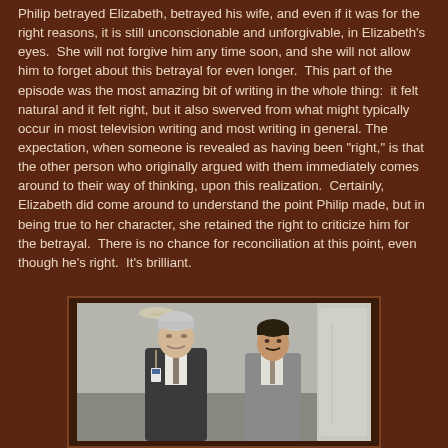Philip betrayed Elizabeth, betrayed his wife, and even if it was for the right reasons, it is still unconscionable and unforgivable, in Elizabeth's eyes.  She will not forgive him any time soon, and she will not allow him to forget about this betrayal for even longer.  This part of the episode was the most amazing bit of writing in the whole thing:  it felt natural and it felt right, but it also swerved from what might typically occur in most television writing and most writing in general.  The expectation, when someone is revealed as having been "right," is that the other person who originally argued with them immediately comes around to their way of thinking, upon this realization.  Certainly, Elizabeth did come around to understand the point Philip made, but in being true to her character, she retained the right to criticize him for the betrayal.  There is no chance for reconciliation at this point, even though he's right.  It's brilliant.
[Figure (photo): Two men in suits standing and talking, appearing to be in a corridor or hallway setting. One man is older with light/gray hair on the left, the other is younger with darker features on the right.]